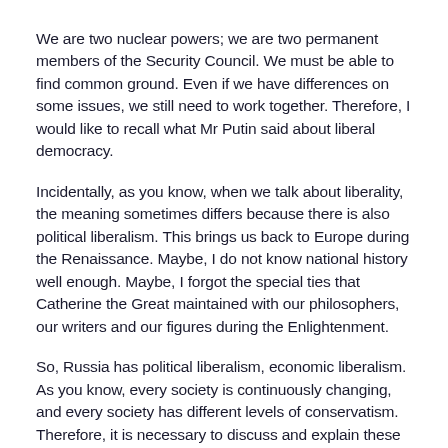We are two nuclear powers; we are two permanent members of the Security Council. We must be able to find common ground. Even if we have differences on some issues, we still need to work together. Therefore, I would like to recall what Mr Putin said about liberal democracy.
Incidentally, as you know, when we talk about liberality, the meaning sometimes differs because there is also political liberalism. This brings us back to Europe during the Renaissance. Maybe, I do not know national history well enough. Maybe, I forgot the special ties that Catherine the Great maintained with our philosophers, our writers and our figures during the Enlightenment.
So, Russia has political liberalism, economic liberalism. As you know, every society is continuously changing, and every society has different levels of conservatism. Therefore, it is necessary to discuss and explain these notions.